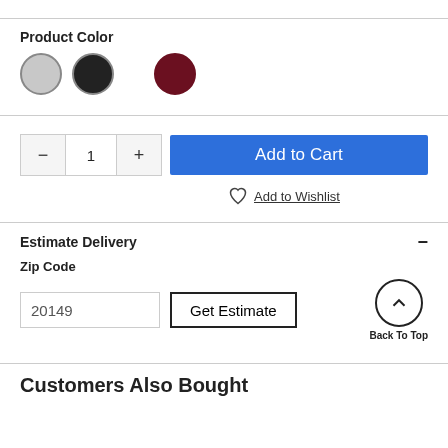Product Color
[Figure (illustration): Three color swatches: silver/gray circle with border, black circle, and maroon/dark red circle]
[Figure (illustration): Quantity selector with minus button, 1, plus button; and Add to Cart blue button]
[Figure (illustration): Heart icon with Add to Wishlist link]
Estimate Delivery
Zip Code
20149
Get Estimate
[Figure (illustration): Back To Top button with upward chevron circle icon]
Customers Also Bought